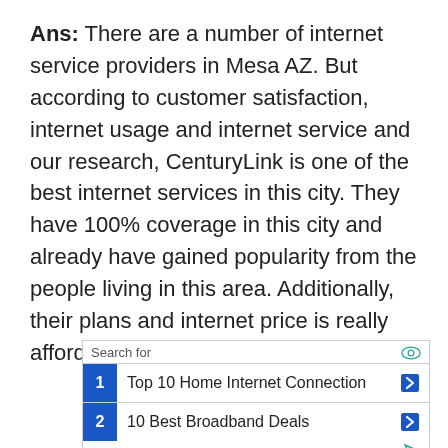Ans: There are a number of internet service providers in Mesa AZ. But according to customer satisfaction, internet usage and internet service and our research, CenturyLink is one of the best internet services in this city. They have 100% coverage in this city and already have gained popularity from the people living in this area. Additionally, their plans and internet price is really affordable.
[Figure (infographic): Search ad box with two rows: 1. Top 10 Home Internet Connection, 2. 10 Best Broadband Deals]